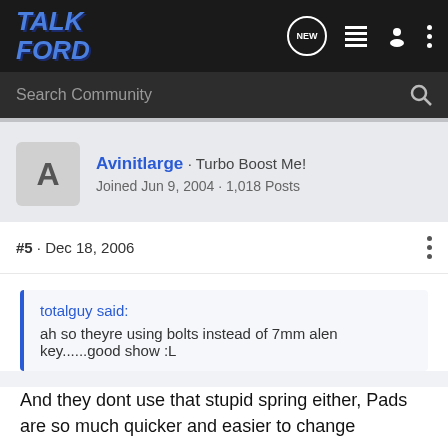TALK FORD
Search Community
Avinitlarge · Turbo Boost Me&#33; Joined Jun 9, 2004 · 1,018 Posts
#5 · Dec 18, 2006
totalguy said:
ah so theyre using bolts instead of 7mm alen key......good show :L
And they dont use that stupid spring either, Pads are so much quicker and easier to change
1997 VT0B FHB Manual...